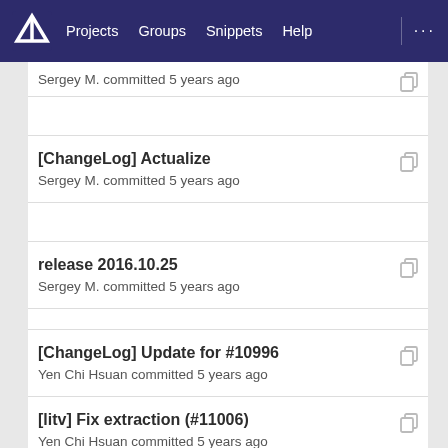Projects  Groups  Snippets  Help
Sergey M. committed 5 years ago
[ChangeLog] Actualize
Sergey M. committed 5 years ago
release 2016.10.25
Sergey M. committed 5 years ago
[ChangeLog] Update for #10996
Yen Chi Hsuan committed 5 years ago
[litv] Fix extraction (#11006)
Yen Chi Hsuan committed 5 years ago
[ChangeLog] Actualize